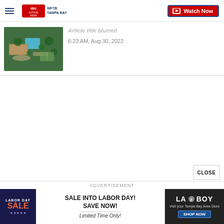WFTB Tampa Bay | ABC Action News | Watch Now
[Figure (screenshot): Aerial photo of a large estate with pool and palm trees, shown as article thumbnail]
ARTICLE TITLE (partially visible/blurred)
6:23 AM, Aug 30, 2022
CLOSE
ADVERTISEMENT
[Figure (photo): La-Z-Boy Labor Day Sale advertisement banner: left section dark blue with LABOR DAY SALE text, center white with SALE INTO LABOR DAY! SAVE NOW! Limited Time Only!, right dark with LA-Z-BOY logo Visit your Tampa Bay Area Store and SHOP NOW button]